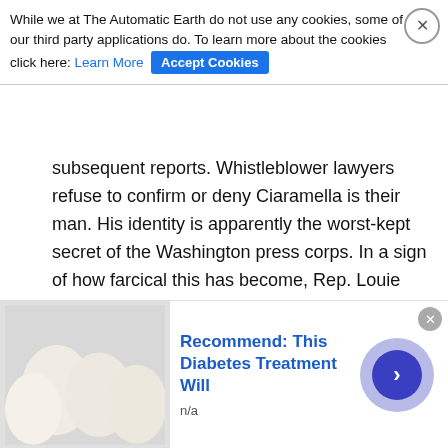While we at The Automatic Earth do not use any cookies, some of our third party applications do. To learn more about the cookies click here: Learn More  Accept Cookies
subsequent reports. Whistleblower lawyers refuse to confirm or deny Ciaramella is their man. His identity is apparently the worst-kept secret of the Washington press corps. In a sign of how farcical this has become, Rep. Louie Gohmert (R-Texas) said his name as part of a series of names during a live hearing Wednesday night aired on television. He never called him the whistleblower, just said he was someone Republicans thought should testify, yet Democrats angrily denounced the “outing.” If you don’t know the man’s name, how do you know the man’s name?” -New York Post
[Figure (photo): Photo of two men in a formal room with a painting of Abraham Lincoln on the wall. One man appears to be Barack Obama seen from behind, the other is a man with glasses.]
Recommend: This Diabetes Treatment Will
n/a